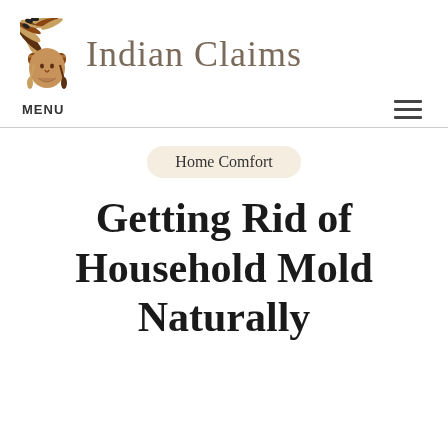Indian Claims
MENU
Home Comfort
Getting Rid of Household Mold Naturally